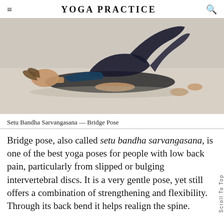YOGA PRACTICE
[Figure (photo): Woman performing Bridge Pose (Setu Bandha Sarvangasana), lying on her back with hips raised on a light-colored floor, viewed from the side.]
Setu Bandha Sarvangasana — Bridge Pose
Bridge pose, also called setu bandha sarvangasana, is one of the best yoga poses for people with low back pain, particularly from slipped or bulging intervertebral discs. It is a very gentle pose, yet still offers a combination of strengthening and flexibility. Through its back bend it helps realign the spine.